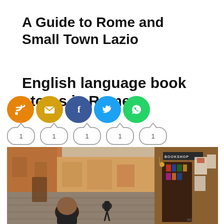A Guide to Rome and Small Town Lazio
English language book stores in Rome
[Figure (infographic): Five social media sharing icons (RSS, Email, Facebook, Twitter, WhatsApp) arranged in a horizontal row with share count badges showing '1' below each icon]
[Figure (photo): Street scene in Rome showing a narrow cobblestone alley with warm-toned buildings, a person walking, and on the right side a bookshop storefront with books displayed and a sign reading 'BOOKSHOP', with posters on the wall]